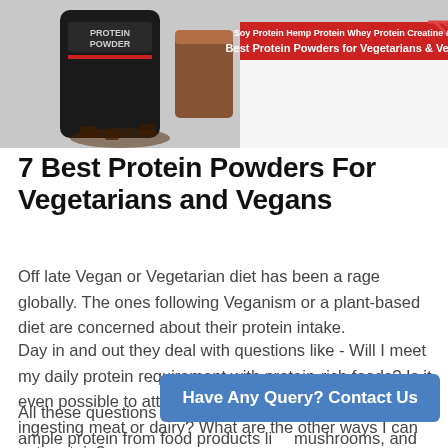[Figure (photo): Hero banner image showing a protein powder container and a chocolate protein shake glass, with text 'Best Protein Powders for Vegetarians & Vegans' on a red banner overlay]
7 Best Protein Powders For Vegetarians and Vegans
Off late Vegan or Vegetarian diet has been a rage globally. The ones following Veganism or a plant-based diet are concerned about their protein intake.
Day in and out they deal with questions like - Will I meet my daily protein requirement with protein-rich foods? Is it even possible to attain the suggested protein limit without ingesting meat or dairy? What are the other ways I can get protein?
All these questions are legitimate. Though you can get ample protein from food products like mushrooms, and nuts, will you always have the time to make
Have Any Query? Contact Us